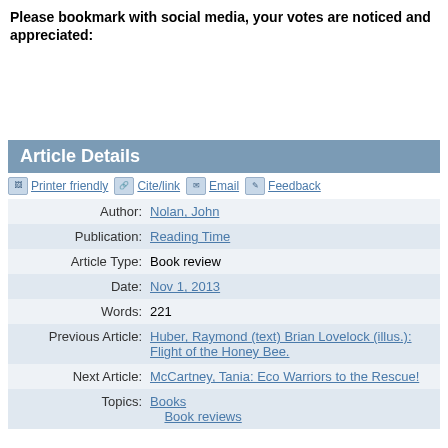Please bookmark with social media, your votes are noticed and appreciated:
Article Details
| Author: | Nolan, John |
| Publication: | Reading Time |
| Article Type: | Book review |
| Date: | Nov 1, 2013 |
| Words: | 221 |
| Previous Article: | Huber, Raymond (text) Brian Lovelock (illus.): Flight of the Honey Bee. |
| Next Article: | McCartney, Tania: Eco Warriors to the Rescue! |
| Topics: | Books
Book reviews |